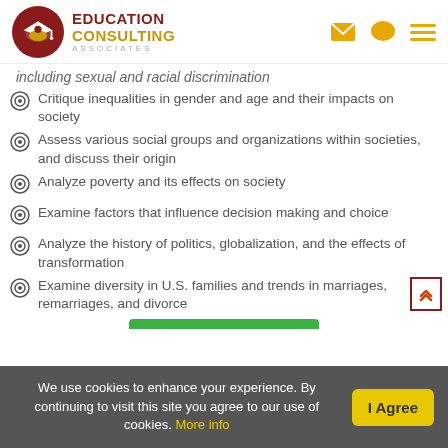Education Consulting Associates
including sexual and racial discrimination
Critique inequalities in gender and age and their impacts on society
Assess various social groups and organizations within societies, and discuss their origin
Analyze poverty and its effects on society
Examine factors that influence decision making and choice
Analyze the history of politics, globalization, and the effects of transformation
Examine diversity in U.S. families and trends in marriages, remarriages, and divorce
We use cookies to enhance your experience. By continuing to visit this site you agree to our use of cookies. More info